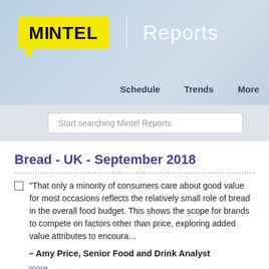[Figure (logo): Mintel Reports logo with yellow speech-bubble logo and 'Reports' text, navigation items: Schedule, Trends, More]
Start searching Mintel Reports
Bread - UK - September 2018
“That only a minority of consumers care about good value for most occasions reflects the relatively small role of bread in the overall food budget. This shows the scope for brands to compete on factors other than price, exploring added value attributes to encourage…
– Amy Price, Senior Food and Drink Analyst
more
Report Price:   £1995.00   |   $2693.85   |   €2245.17
Download: